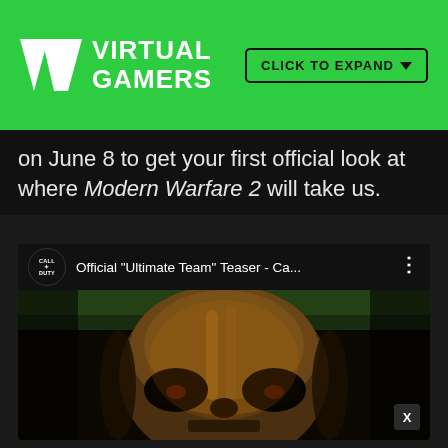VR VIRTUAL GAMERS | CLICK TO EXPAND
on June 8 to get your first official look at where Modern Warfare 2 will take us.
[Figure (screenshot): Embedded YouTube video player showing Call of Duty 'Official Ultimate Team Teaser' with a close-up of a skull-masked character (Ghost) illuminated in warm orange tones against a dark background. The video has a CALL OF DUTY channel icon, title text, three-dot menu, and an X close button.]